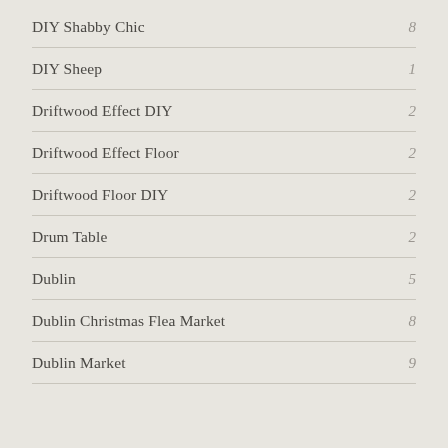DIY Shabby Chic 8
DIY Sheep 1
Driftwood Effect DIY 2
Driftwood Effect Floor 2
Driftwood Floor DIY 2
Drum Table 2
Dublin 5
Dublin Christmas Flea Market 8
Dublin Market 9